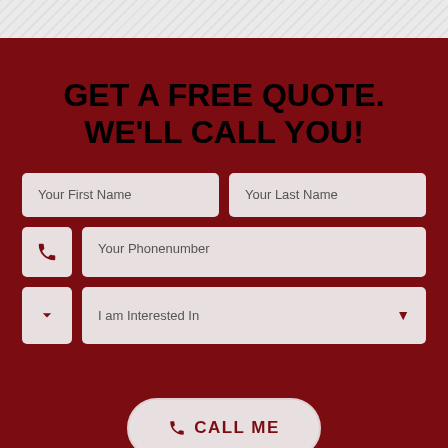GET A FREE QUOTE. WE'LL CALL YOU!
Your First Name
Your Last Name
Your Phonenumber
I am Interested In
CALL ME